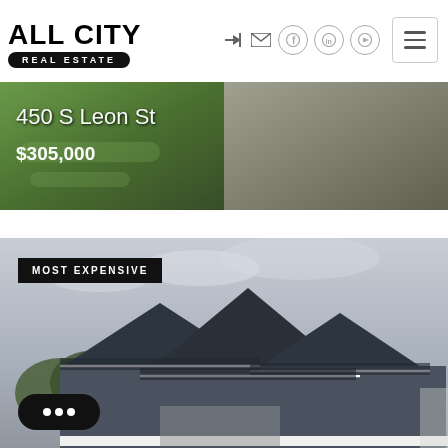ALL CITY REAL ESTATE — navigation header
[Figure (photo): Property listing image for 450 S Leon St showing a house with green lawn on the left half and gray driveway/garage on the right half]
450 S Leon St
$305,000
[Figure (photo): Second property listing marked MOST EXPENSIVE showing a blue-gray house with peaked roofs against a cloudy sky]
MOST EXPENSIVE